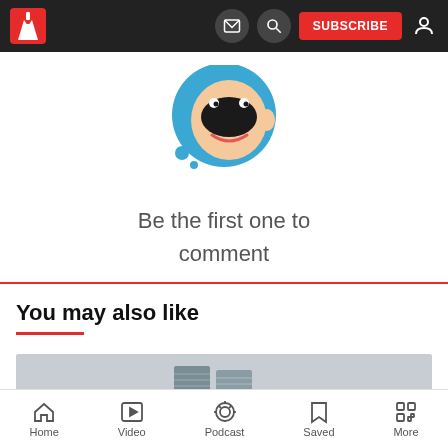Navigation bar with logo, email icon, search icon, SUBSCRIBE button, user icon
[Figure (illustration): Cartoon avatar character with large black mustache on a blue circle background]
Be the first one to comment
You may also like
[Figure (photo): Photo of two tall cylindrical high-rise buildings under grey sky with green trees and city buildings in foreground]
Home  Video  Podcast  Saved  More